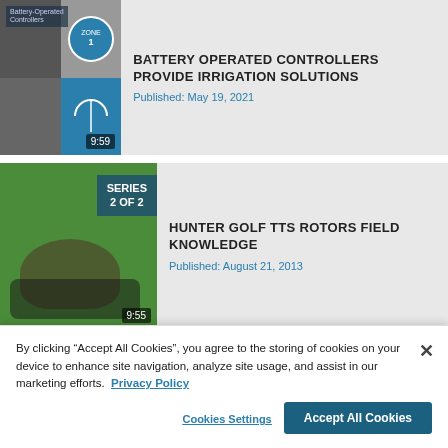[Figure (screenshot): Thumbnail image for Battery Operated Controllers video, showing a grid of product images with 9:59 duration badge]
BATTERY OPERATED CONTROLLERS PROVIDE IRRIGATION SOLUTIONS
Published: May 19, 2021
[Figure (screenshot): Thumbnail image for Hunter Golf TTS Rotors Field Knowledge video, SERIES 2 OF 2, with 9:55 duration badge, showing hands adjusting a rotor on grass]
HUNTER GOLF TTS ROTORS FIELD KNOWLEDGE
Published: August 21, 2013
[Figure (screenshot): Thumbnail image for ROAM XL Operation video, partially visible]
ROAM XL OPERATION
By clicking “Accept All Cookies”, you agree to the storing of cookies on your device to enhance site navigation, analyze site usage, and assist in our marketing efforts.  Privacy Policy
Cookies Settings
Accept All Cookies